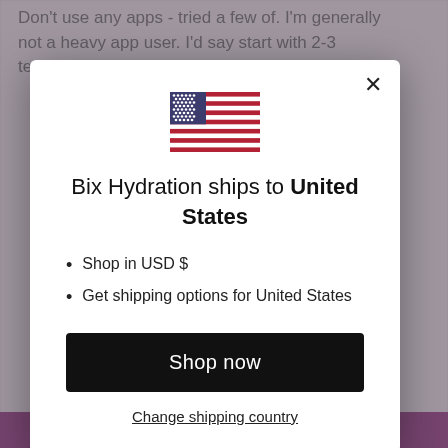Don't use any apps - tried a few of. I'm generally not a heavy app user. I'd say start with 2-3 techniques
[Figure (illustration): US flag emoji/icon]
Bix Hydration ships to United States
Shop in USD $
Get shipping options for United States
Shop now
Change shipping country
calming ones.